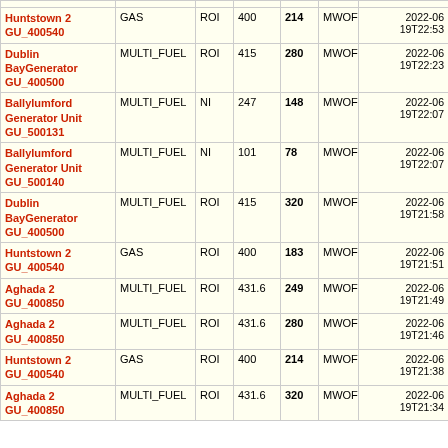| Name/ID | Fuel | Region | Capacity | Output | Unit | Timestamp |
| --- | --- | --- | --- | --- | --- | --- |
| Huntstown 2 GU_400540 | GAS | ROI | 400 | 214 | MWOF | 2022-06-19T22:53 |
| Dublin BayGenerator GU_400500 | MULTI_FUEL | ROI | 415 | 280 | MWOF | 2022-06-19T22:23 |
| Ballylumford Generator Unit GU_500131 | MULTI_FUEL | NI | 247 | 148 | MWOF | 2022-06-19T22:07 |
| Ballylumford Generator Unit GU_500140 | MULTI_FUEL | NI | 101 | 78 | MWOF | 2022-06-19T22:07 |
| Dublin BayGenerator GU_400500 | MULTI_FUEL | ROI | 415 | 320 | MWOF | 2022-06-19T21:58 |
| Huntstown 2 GU_400540 | GAS | ROI | 400 | 183 | MWOF | 2022-06-19T21:51 |
| Aghada 2 GU_400850 | MULTI_FUEL | ROI | 431.6 | 249 | MWOF | 2022-06-19T21:49 |
| Aghada 2 GU_400850 | MULTI_FUEL | ROI | 431.6 | 280 | MWOF | 2022-06-19T21:46 |
| Huntstown 2 GU_400540 | GAS | ROI | 400 | 214 | MWOF | 2022-06-19T21:38 |
| Aghada 2 GU_400850 | MULTI_FUEL | ROI | 431.6 | 320 | MWOF | 2022-06-19T21:34 |